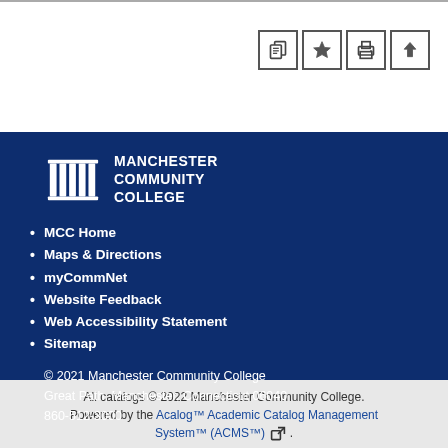[Figure (other): Four icon buttons: document/copy, star/bookmark, print, and upload/share arrow]
[Figure (logo): Manchester Community College logo with columns icon and college name text]
MCC Home
Maps & Directions
myCommNet
Website Feedback
Web Accessibility Statement
Sitemap
© 2021 Manchester Community College
Great Path, Manchester, Connecticut 06040
860-512-3000
All catalogs © 2022 Manchester Community College. Powered by the Acalog™ Academic Catalog Management System™ (ACMS™).